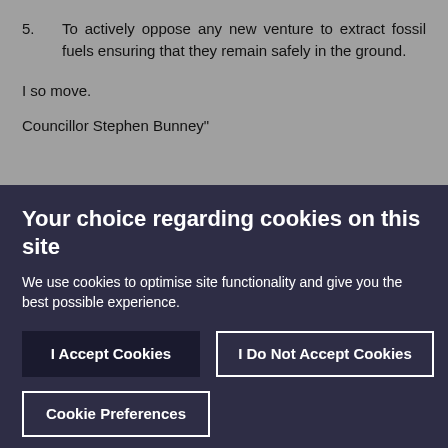5. To actively oppose any new venture to extract fossil fuels ensuring that they remain safely in the ground.
I so move.
Councillor Stephen Bunney"
Your choice regarding cookies on this site
We use cookies to optimise site functionality and give you the best possible experience.
I Accept Cookies
I Do Not Accept Cookies
Cookie Preferences